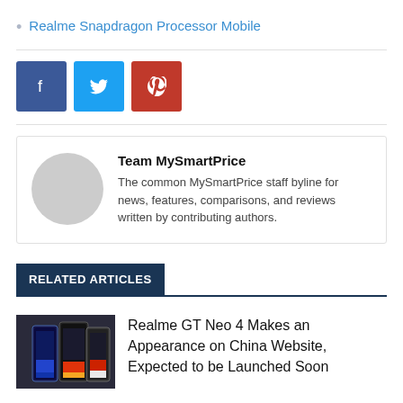Realme Snapdragon Processor Mobile
[Figure (other): Social share buttons: Facebook (blue), Twitter (light blue), Pinterest (red)]
Team MySmartPrice
The common MySmartPrice staff byline for news, features, comparisons, and reviews written by contributing authors.
RELATED ARTICLES
[Figure (photo): Photo of Realme GT Neo 4 smartphones]
Realme GT Neo 4 Makes an Appearance on China Website, Expected to be Launched Soon